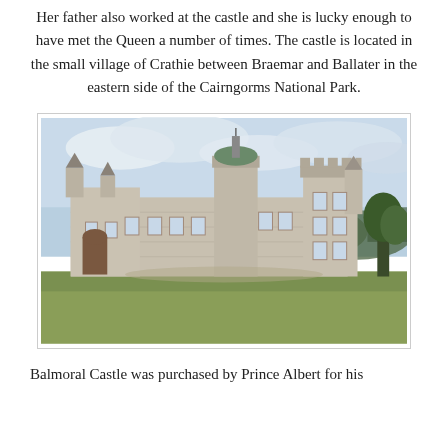Her father also worked at the castle and she is lucky enough to have met the Queen a number of times. The castle is located in the small village of Crathie between Braemar and Ballater in the eastern side of the Cairngorms National Park.
[Figure (photo): Photograph of Balmoral Castle, a large Scottish baronial style castle with multiple turrets and towers, set against an overcast sky with a grassy foreground.]
Balmoral Castle was purchased by Prince Albert for his